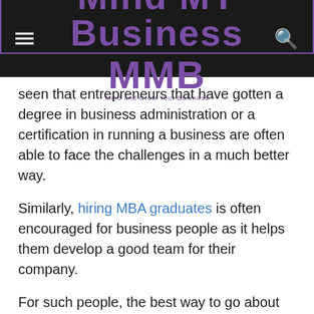Mind MY Business / MMB
seen that entrepreneurs that have gotten a degree in business administration or a certification in running a business are often able to face the challenges in a much better way.
Similarly, hiring MBA graduates is often encouraged for business people as it helps them develop a good team for their company.
For such people, the best way to go about this would be to identify the best cities for MBA graduates and set up their talent hunt centers there to grab the best candidate for their company.
2) Take Moderate Risks
Businessmen are moderate and calculated risk-takers. They see